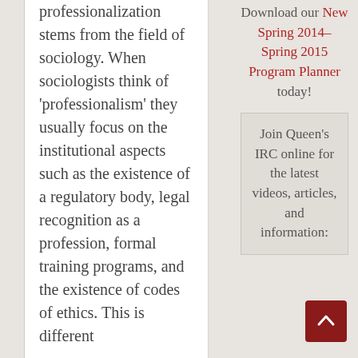professionalization stems from the field of sociology. When sociologists think of 'professionalism' they usually focus on the institutional aspects such as the existence of a regulatory body, legal recognition as a profession, formal training programs, and the existence of codes of ethics. This is different
Download our New Spring 2014–Spring 2015 Program Planner today!
Join Queen's IRC online for the latest videos, articles, and information: